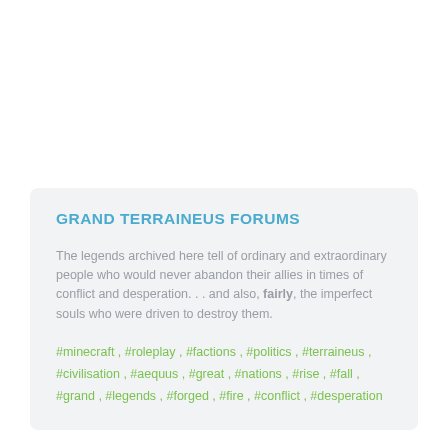GRAND TERRAINEUS FORUMS
The legends archived here tell of ordinary and extraordinary people who would never abandon their allies in times of conflict and desperation. . . and also, fairly, the imperfect souls who were driven to destroy them.
#minecraft , #roleplay , #factions , #politics , #terraineus , #civilisation , #aequus , #great , #nations , #rise , #fall , #grand , #legends , #forged , #fire , #conflict , #desperation